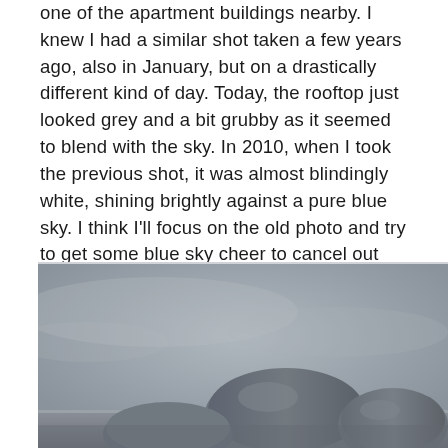one of the apartment buildings nearby. I knew I had a similar shot taken a few years ago, also in January, but on a drastically different kind of day. Today, the rooftop just looked grey and a bit grubby as it seemed to blend with the sky. In 2010, when I took the previous shot, it was almost blindingly white, shining brightly against a pure blue sky. I think I'll focus on the old photo and try to get some blue sky cheer to cancel out the winter doldrums.
[Figure (photo): A grey-toned photograph showing rooftop structures, possibly chimneys or ventilation units on an apartment building rooftop, against an overcast grey sky.]